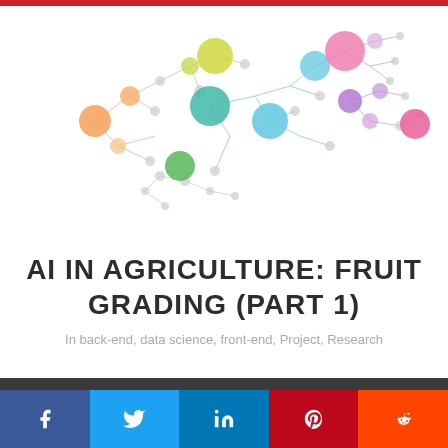[Figure (network-graph): Colorful network graph resembling a brain shape, with colored circles (nodes) in orange, yellow-green, teal, light blue, pink, purple, light pink/magenta, green connected by thin lines on a white background]
AI IN AGRICULTURE: FRUIT GRADING (PART 1)
In back-end, data science, front-end, Project, Research
[Figure (infographic): Social sharing bar with Facebook (dark blue), Twitter (light blue), LinkedIn (blue), Pinterest (red), Reddit (orange) icons on colored background buttons]